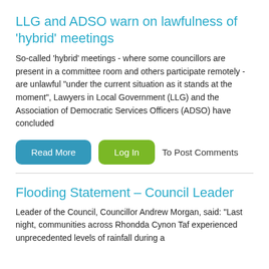LLG and ADSO warn on lawfulness of 'hybrid' meetings
So-called ‘hybrid’ meetings - where some councillors are present in a committee room and others participate remotely - are unlawful “under the current situation as it stands at the moment”, Lawyers in Local Government (LLG) and the Association of Democratic Services Officers (ADSO) have concluded
Read More | Log In | To Post Comments
Flooding Statement – Council Leader
Leader of the Council, Councillor Andrew Morgan, said: “Last night, communities across Rhondda Cynon Taf experienced unprecedented levels of rainfall during a